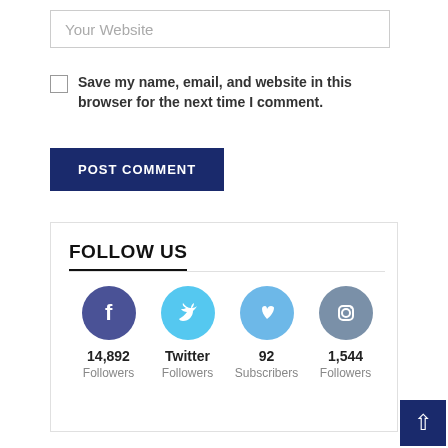Your Website
Save my name, email, and website in this browser for the next time I comment.
POST COMMENT
FOLLOW US
[Figure (infographic): Four social media icons (Facebook, Twitter, Vimeo, Instagram) with follower/subscriber counts. Facebook: 14,892 Followers. Twitter: Twitter Followers. Vimeo: 92 Subscribers. Instagram: 1,544 Followers.]